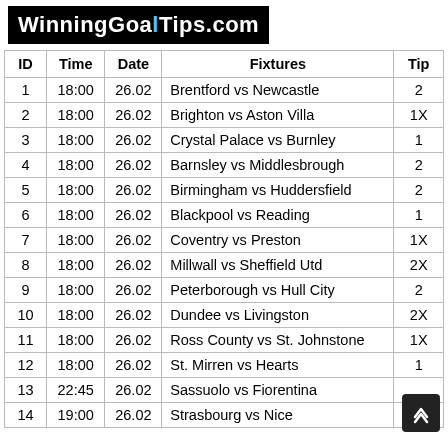WinningGoalTips.com
| ID | Time | Date | Fixtures | Tip |
| --- | --- | --- | --- | --- |
| 1 | 18:00 | 26.02 | Brentford vs Newcastle | 2 |
| 2 | 18:00 | 26.02 | Brighton vs Aston Villa | 1X |
| 3 | 18:00 | 26.02 | Crystal Palace vs Burnley | 1 |
| 4 | 18:00 | 26.02 | Barnsley vs Middlesbrough | 2 |
| 5 | 18:00 | 26.02 | Birmingham vs Huddersfield | 2 |
| 6 | 18:00 | 26.02 | Blackpool vs Reading | 1 |
| 7 | 18:00 | 26.02 | Coventry vs Preston | 1X |
| 8 | 18:00 | 26.02 | Millwall vs Sheffield Utd | 2X |
| 9 | 18:00 | 26.02 | Peterborough vs Hull City | 2 |
| 10 | 18:00 | 26.02 | Dundee vs Livingston | 2X |
| 11 | 18:00 | 26.02 | Ross County vs St. Johnstone | 1X |
| 12 | 18:00 | 26.02 | St. Mirren vs Hearts | 1 |
| 13 | 22:45 | 26.02 | Sassuolo vs Fiorentina |  |
| 14 | 19:00 | 26.02 | Strasbourg vs Nice | 1 |